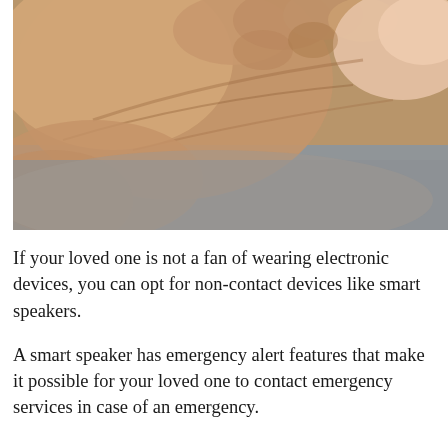[Figure (photo): Close-up photo of two hands holding or touching each other, with blurred grey background. Skin tones visible with detailed texture.]
If your loved one is not a fan of wearing electronic devices, you can opt for non-contact devices like smart speakers.
A smart speaker has emergency alert features that make it possible for your loved one to contact emergency services in case of an emergency.